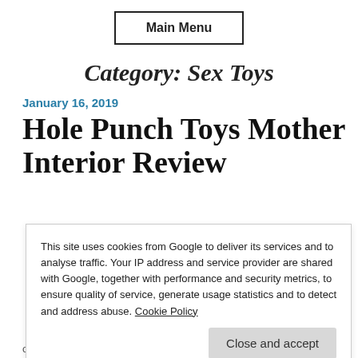Main Menu
Category: Sex Toys
January 16, 2019
Hole Punch Toys Mother Interior Review
This site uses cookies from Google to deliver its services and to analyse traffic. Your IP address and service provider are shared with Google, together with performance and security metrics, to ensure quality of service, generate usage statistics and to detect and address abuse. Cookie Policy
Close and accept
of scripture, and warning them, talking religious